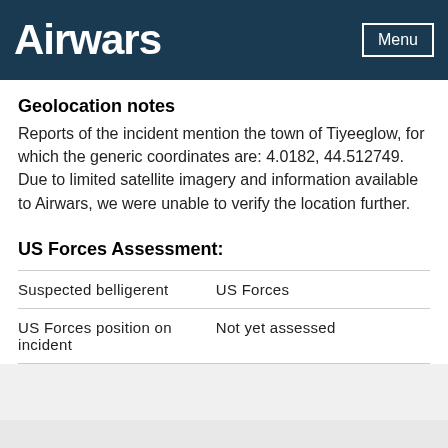Airwars
Geolocation notes
Reports of the incident mention the town of Tiyeeglow, for which the generic coordinates are: 4.0182, 44.512749. Due to limited satellite imagery and information available to Airwars, we were unable to verify the location further.
US Forces Assessment:
| Suspected belligerent | US Forces |
| US Forces position on incident | Not yet assessed |